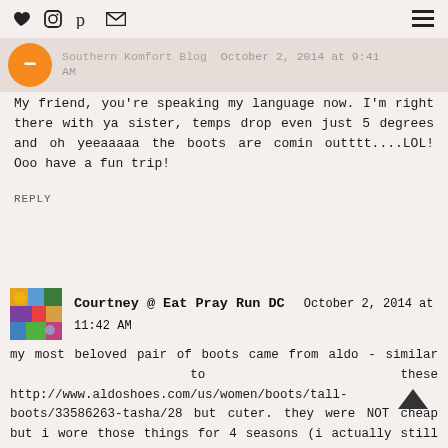♥ Instagram Pinterest Email | Southern Komfort Blog
Southern Komfort Blog  October 2, 2014 at 9:41 AM
My friend, you're speaking my language now. I'm right there with ya sister, temps drop even just 5 degrees and oh yeeaaaaa the boots are comin outttt....LOL! Ooo have a fun trip!
REPLY
Courtney @ Eat Pray Run DC  October 2, 2014 at 11:42 AM
my most beloved pair of boots came from aldo - similar to these http://www.aldoshoes.com/us/women/boots/tall-boots/33586263-tasha/28 but cuter. they were NOT cheap but i wore those things for 4 seasons (i actually still have them but i think i wore them out last season). i definitely got my money's worth!